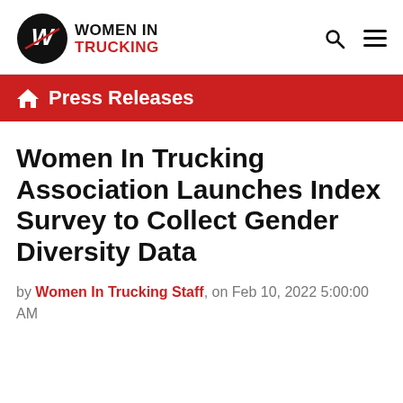WOMEN IN TRUCKING
Press Releases
Women In Trucking Association Launches Index Survey to Collect Gender Diversity Data
by Women In Trucking Staff, on Feb 10, 2022 5:00:00 AM